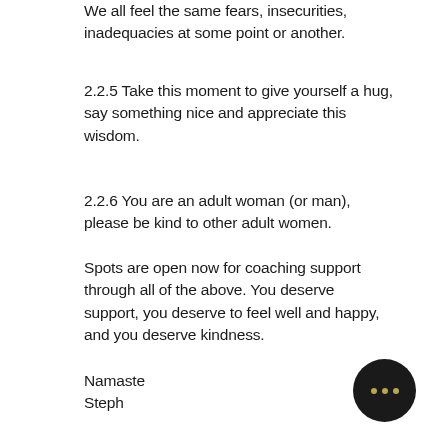We all feel the same fears, insecurities, inadequacies at some point or another.
2.2.5 Take this moment to give yourself a hug, say something nice and appreciate this wisdom.
2.2.6 You are an adult woman (or man), please be kind to other adult women.
Spots are open now for coaching support through all of the above. You deserve support, you deserve to feel well and happy, and you deserve kindness.
Namaste
Steph